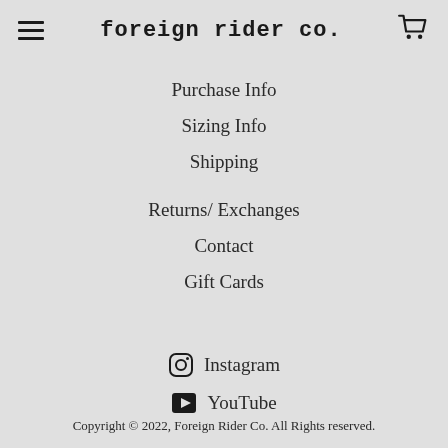foreign rider co.
Purchase Info
Sizing Info
Shipping
Returns/ Exchanges
Contact
Gift Cards
Instagram
YouTube
Copyright © 2022, Foreign Rider Co. All Rights reserved.